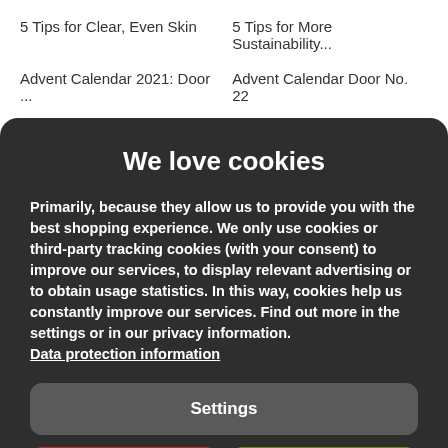5 Tips for Clear, Even Skin
5 Tips for More Sustainability...
Advent Calendar 2021: Door ...
Advent Calendar Door No. 22
We love cookies
Primarily, because they allow us to provide you with the best shopping experience. We only use cookies or third-party tracking cookies (with your consent) to improve our services, to display relevant advertising or to obtain usage statistics. In this way, cookies help us constantly improve our services. Find out more in the settings or in our privacy information.
Data protection information
Settings
Reject all
Accept all